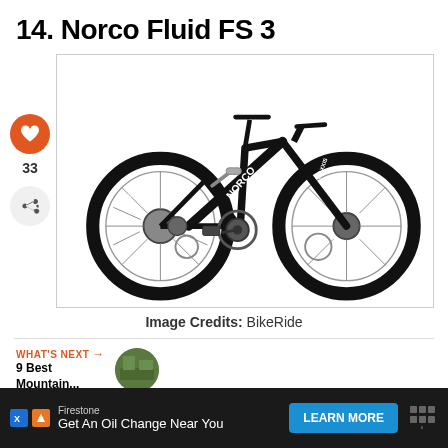14. Norco Fluid FS 3
[Figure (photo): Black Norco Fluid FS 3 full-suspension mountain bike shown in profile view against white background, with Maxxis tires on both wheels, disc brakes, and the Norco logo on the downtube.]
Image Credits: BikeRide
WHAT'S NEXT → 9 Best Mountain...
Get An Oil Change Near You — Firestone — LEARN MORE